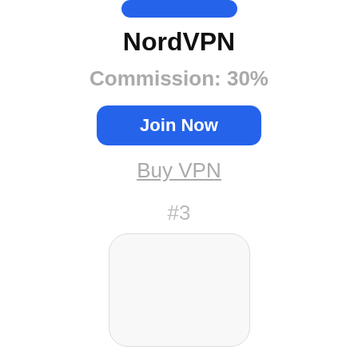[Figure (other): Blue rounded rectangle button (NordVPN logo/button) partially visible at top]
NordVPN
Commission: 30%
Join Now
Buy VPN
#3
[Figure (other): White/light gray rounded rectangle logo placeholder box for ExpressVPN]
ExpressVPN